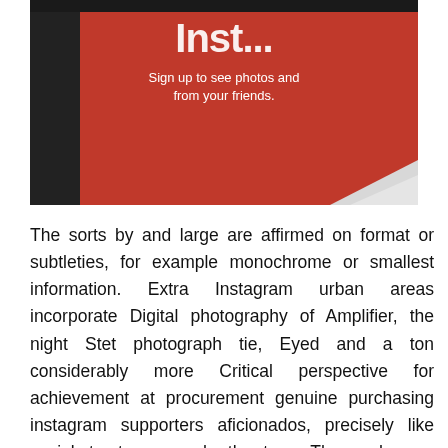[Figure (photo): Photo of a mobile phone screen showing an Instagram-like red login page with white text 'Sign up to see photos and videos from your friends.' The background is red with a dark phone border visible.]
The sorts by and large are affirmed on format or subtleties, for example monochrome or smallest information. Extra Instagram urban areas incorporate Digital photography of Amplifier, the night Stet photograph tie, Eyed and a ton considerably more Critical perspective for achievement at procurement genuine purchasing instagram supporters aficionados, precisely like social structure or each other town. The much more you interface with them and furthermore supply the considerably more to your own one